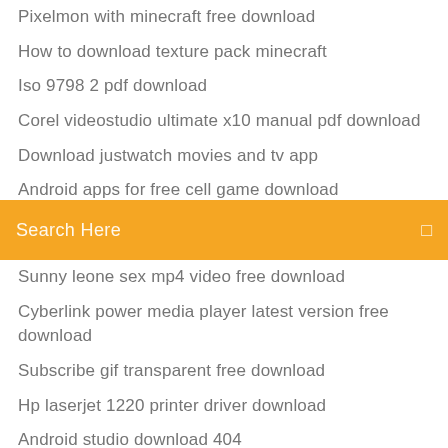Pixelmon with minecraft free download
How to download texture pack minecraft
Iso 9798 2 pdf download
Corel videostudio ultimate x10 manual pdf download
Download justwatch movies and tv app
Android apps for free cell game download
[Figure (screenshot): Orange search bar with text 'Search Here' and a search icon on the right]
Sunny leone sex mp4 video free download
Cyberlink power media player latest version free download
Subscribe gif transparent free download
Hp laserjet 1220 printer driver download
Android studio download 404
Ps4 not enough space to download
Dirty little secrets the book free download pdf
Cant download all files from google drive
Good torrent site to download windows 7
Download latest pc games
Download drivers hp officejet pro 8700